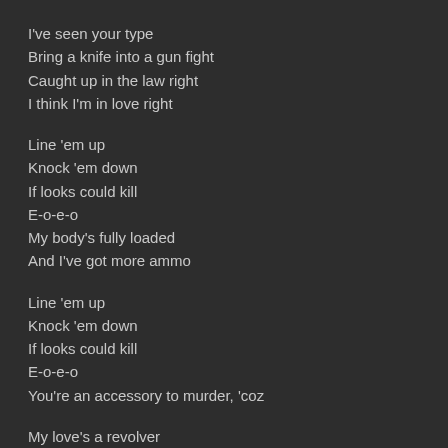I've seen your type
Bring a knife into a gun fight
Caught up in the law right
I think I'm in love right
Line 'em up
Knock 'em down
If looks could kill
E-o-e-o
My body's fully loaded
And I've got more ammo
Line 'em up
Knock 'em down
If looks could kill
E-o-e-o
You're an accessory to murder, 'coz
My love's a revolver
My sex is a killer
Do you wanna die happy?
Do you wanna die happy?